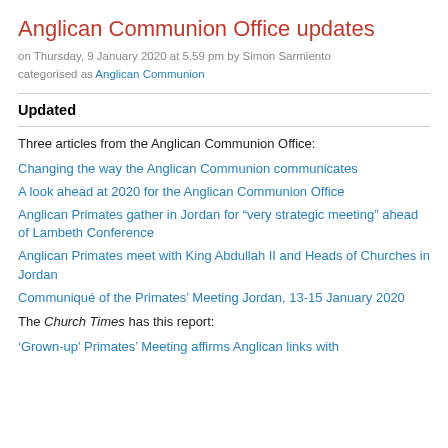Anglican Communion Office updates
on Thursday, 9 January 2020 at 5.59 pm by Simon Sarmiento categorised as Anglican Communion
Updated
Three articles from the Anglican Communion Office:
Changing the way the Anglican Communion communicates
A look ahead at 2020 for the Anglican Communion Office
Anglican Primates gather in Jordan for “very strategic meeting” ahead of Lambeth Conference
Anglican Primates meet with King Abdullah II and Heads of Churches in Jordan
Communiqué of the Primates’ Meeting Jordan, 13-15 January 2020
The Church Times has this report:
‘Grown-up’ Primates’ Meeting affirms Anglican links with